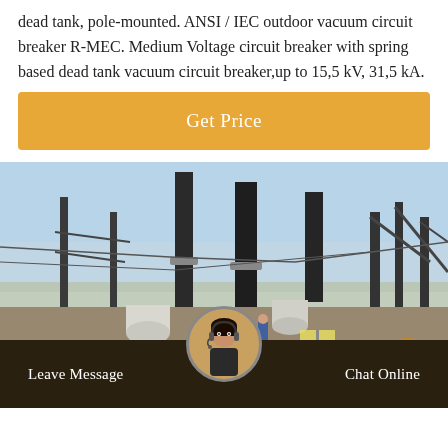dead tank, pole-mounted. ANSI / IEC outdoor vacuum circuit breaker R-MEC. Medium Voltage circuit breaker with spring based dead tank vacuum circuit breaker,up to 15,5 kV, 31,5 kA.
[Figure (other): Orange/amber button with white text 'Get Price']
[Figure (photo): Outdoor electrical substation with tall dark steel poles, cylindrical insulators, white tanks/vessels, high-voltage transmission infrastructure, workers visible, under blue sky with some haze.]
Leave Message   Chat Online